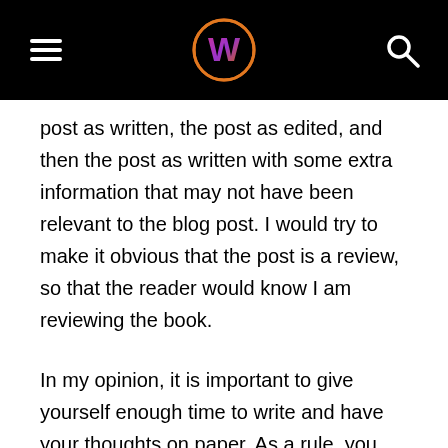[Figure (logo): Black navigation header bar with hamburger menu icon on left, circular W logo in center with orange and purple gradient, and search magnifying glass icon on right]
post as written, the post as edited, and then the post as written with some extra information that may not have been relevant to the blog post. I would try to make it obvious that the post is a review, so that the reader would know I am reviewing the book.
In my opinion, it is important to give yourself enough time to write and have your thoughts on paper. As a rule, you should have a minimum of five hours to write before you post, and the more time you have, the better your writing will be. If you are too rushed you are going to just make a ton of mistakes.
I don't think the average blogger is always an autodidact. But since I've been blogging nearly four years now, I have learned so much about writing copy. It's become my favorite